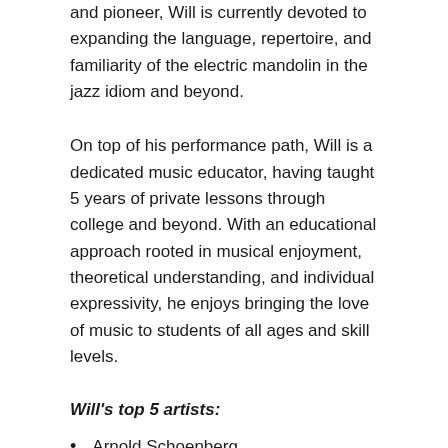and pioneer, Will is currently devoted to expanding the language, repertoire, and familiarity of the electric mandolin in the jazz idiom and beyond.
On top of his performance path, Will is a dedicated music educator, having taught 5 years of private lessons through college and beyond. With an educational approach rooted in musical enjoyment, theoretical understanding, and individual expressivity, he enjoys bringing the love of music to students of all ages and skill levels.
Will's top 5 artists:
Arnold Schoenberg